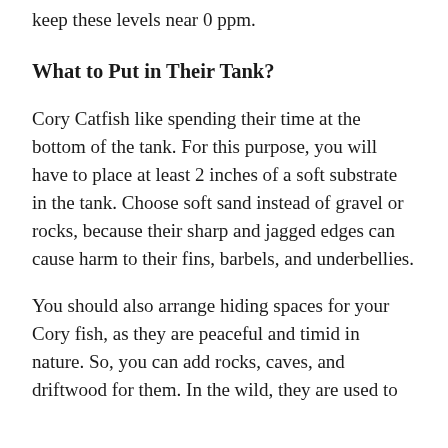keep these levels near 0 ppm.
What to Put in Their Tank?
Cory Catfish like spending their time at the bottom of the tank. For this purpose, you will have to place at least 2 inches of a soft substrate in the tank. Choose soft sand instead of gravel or rocks, because their sharp and jagged edges can cause harm to their fins, barbels, and underbellies.
You should also arrange hiding spaces for your Cory fish, as they are peaceful and timid in nature. So, you can add rocks, caves, and driftwood for them. In the wild, they are used to